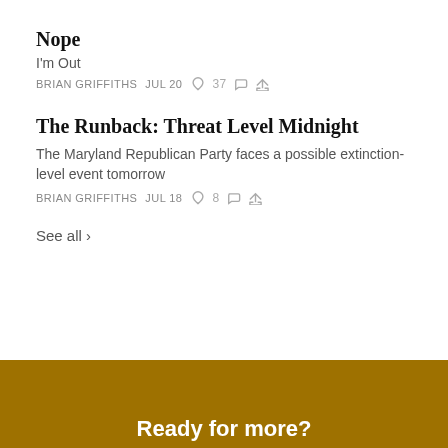Nope
I'm Out
BRIAN GRIFFITHS  JUL 20  ♡ 37
The Runback: Threat Level Midnight
The Maryland Republican Party faces a possible extinction-level event tomorrow
BRIAN GRIFFITHS  JUL 18  ♡ 8
See all ›
Ready for more?